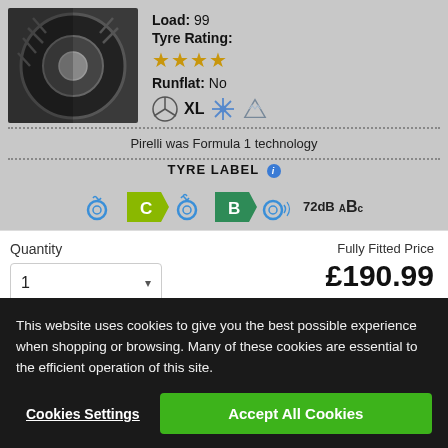[Figure (photo): Black tyre product photo (Pirelli tyre, partial view, top-left corner)]
Load: 99
Tyre Rating:
★★★★ (4 stars, gold)
Runflat: No
[Figure (other): Icons: Mercedes star, XL text, snowflake, three-peak mountain snowflake]
Pirelli was Formula 1 technology
TYRE LABEL ℹ
[Figure (other): Tyre label icons: fuel efficiency C (arrow badge), wet grip B (arrow badge), noise 72dB, ABC grading]
Quantity
1
Fully Fitted Price
£190.99
This website uses cookies to give you the best possible experience when shopping or browsing. Many of these cookies are essential to the efficient operation of this site.
Cookies Settings
Accept All Cookies